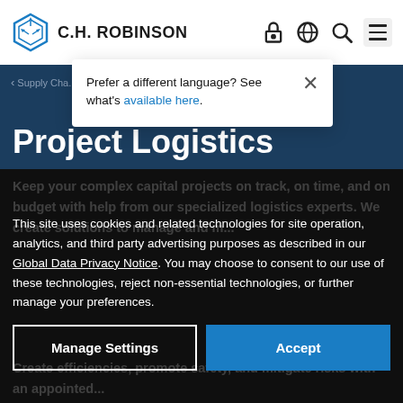C.H. ROBINSON
Prefer a different language? See what's available here.
Supply Cha...
Project Logistics
Keep your complex capital projects on track, on time, and on budget with help from our specialized logistics experts. We create solutions to manage and mi... ...track shipments, and coordinate the details so you meet every safety milestone and constr...
This site uses cookies and related technologies for site operation, analytics, and third party advertising purposes as described in our Global Data Privacy Notice. You may choose to consent to our use of these technologies, reject non-essential technologies, or further manage your preferences.
Manage Settings
Accept
Create efficiencies, promote safety, and mitigate risks with an appointed...